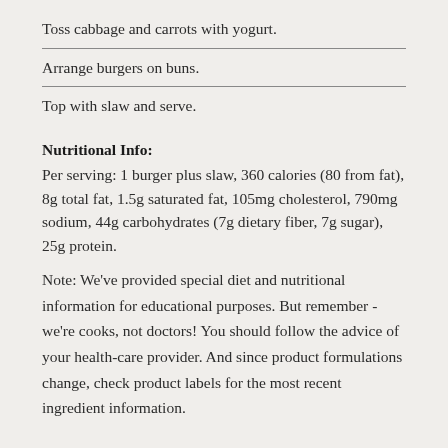Toss cabbage and carrots with yogurt.
Arrange burgers on buns.
Top with slaw and serve.
Nutritional Info:
Per serving: 1 burger plus slaw, 360 calories (80 from fat), 8g total fat, 1.5g saturated fat, 105mg cholesterol, 790mg sodium, 44g carbohydrates (7g dietary fiber, 7g sugar), 25g protein.
Note: We've provided special diet and nutritional information for educational purposes. But remember - we're cooks, not doctors! You should follow the advice of your health-care provider. And since product formulations change, check product labels for the most recent ingredient information.